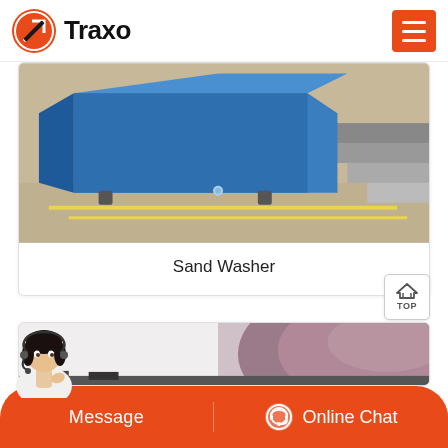Traxo
[Figure (photo): Blue metal sand washer machine sitting on a concrete floor with yellow painted lines, photographed from an angle showing the front and side panels.]
Sand Washer
[Figure (photo): Close-up photo of a large dark purple/mauve cylindrical industrial drum or tank, partially visible, with industrial equipment in the background.]
Message   Online Chat